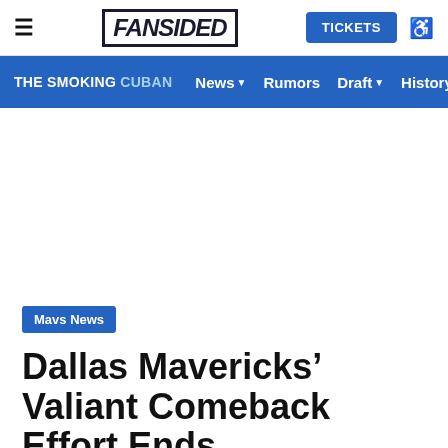≡  FANSIDED  TICKETS  ♿
THE SMOKING CUBAN  News ▾  Rumors  Draft ▾  History  A...
Mavs News
Dallas Mavericks' Valiant Comeback Effort Ends